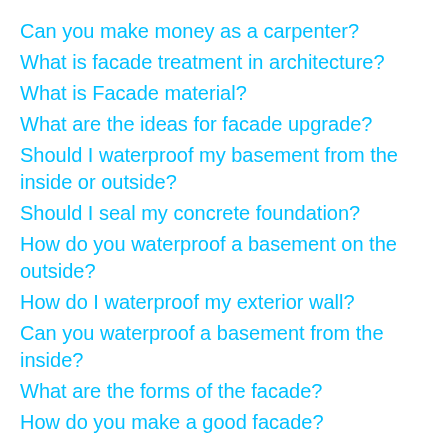Can you make money as a carpenter?
What is facade treatment in architecture?
What is Facade material?
What are the ideas for facade upgrade?
Should I waterproof my basement from the inside or outside?
Should I seal my concrete foundation?
How do you waterproof a basement on the outside?
How do I waterproof my exterior wall?
Can you waterproof a basement from the inside?
What are the forms of the facade?
How do you make a good facade?